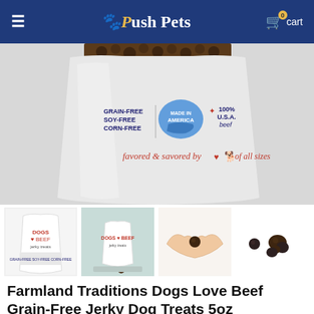Push Pets | 0 cart
[Figure (photo): Main product photo: Farmland Traditions Dogs Love Beef grain-free jerky dog treats bag, showing grain-free soy-free corn-free, Made in America, 100% USA beef labels, and text 'favored & savored by dogs of all sizes']
[Figure (photo): Thumbnail row of 4 product images: bag front, bag on surface with treats, hand holding a treat, and loose treats close-up]
Farmland Traditions Dogs Love Beef Grain-Free Jerky Dog Treats 5oz
No reviews   By Farmland Traditions
$11.99